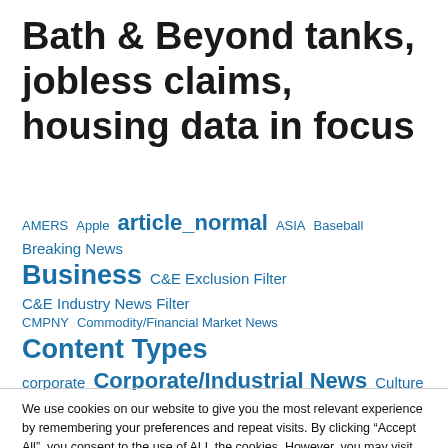Bath & Beyond tanks, jobless claims, housing data in focus
AMERS
Apple
article_normal
ASIA
Baseball
Breaking News
Business
C&E Exclusion Filter
C&E Industry News Filter
CMPNY
Commodity/Financial Market News
Content Types
corporate
Corporate/Industrial News
Culture
dcc
disruptions
We use cookies on our website to give you the most relevant experience by remembering your preferences and repeat visits. By clicking “Accept All”, you consent to the use of ALL the cookies. However, you may visit "Cookie Settings" to provide a controlled consent.